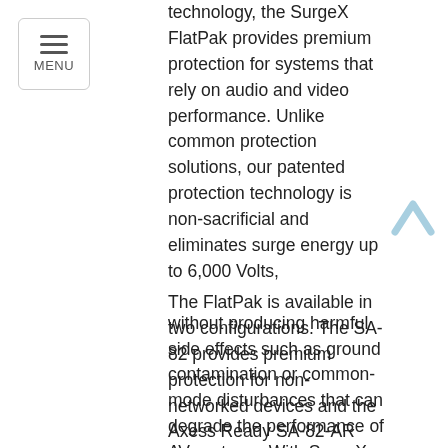technology, the SurgeX FlatPak provides premium protection for systems that rely on audio and video performance. Unlike common protection solutions, our patented protection technology is non-sacrificial and eliminates surge energy up to 6,000 Volts, without producing harmful side effects such as ground contamination or common-mode disturbances that can degrade the performance of AV systems. With SurgeX, your connected equipment will be protected from destructive spikes, surges, and inductive transients that can cause disruptions and catastrophic damage.
The FlatPak is available in two configurations. The SA-82 provides premium protection for non-networked devices and the Axess Ready SA-82-AR offers remote IP control capabilities. This unique SA-82-AR solution gives technicians the ability to control any device that is not currently IP addressable and manage outlets including